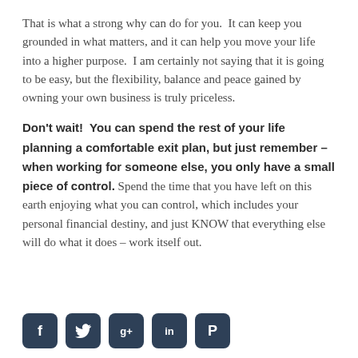That is what a strong why can do for you.  It can keep you grounded in what matters, and it can help you move your life into a higher purpose.  I am certainly not saying that it is going to be easy, but the flexibility, balance and peace gained by owning your own business is truly priceless.
Don't wait!  You can spend the rest of your life planning a comfortable exit plan, but just remember – when working for someone else, you only have a small piece of control. Spend the time that you have left on this earth enjoying what you can control, which includes your personal financial destiny, and just KNOW that everything else will do what it does – work itself out.
[Figure (other): Row of five dark teal/navy rounded square social media icons (Facebook, Twitter, Google+, LinkedIn, Pinterest) partially visible at the bottom of the page.]